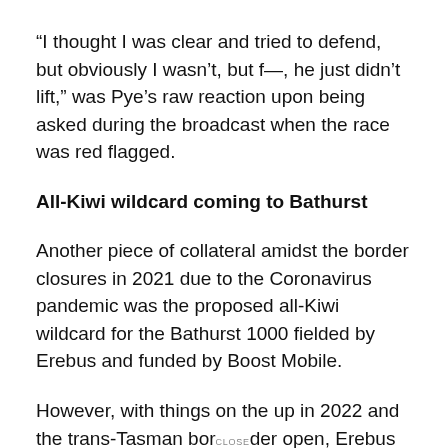“I thought I was clear and tried to defend, but obviously I wasn’t, but f—, he just didn’t lift,” was Pye’s raw reaction upon being asked during the broadcast when the race was red flagged.
All-Kiwi wildcard coming to Bathurst
Another piece of collateral amidst the border closures in 2021 due to the Coronavirus pandemic was the proposed all-Kiwi wildcard for the Bathurst 1000 fielded by Erebus and funded by Boost Mobile.
However, with things on the up in 2022 and the trans-Tasman border open, Erebus